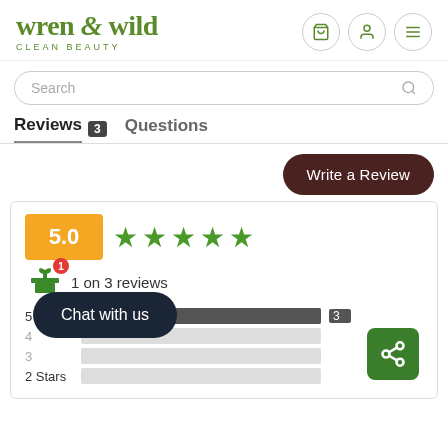[Figure (screenshot): Wren & Wild Clean Beauty website header with logo in green serif font, cart, profile, and menu icon buttons]
Search
Reviews 3   Questions
Write a Review
5.0  ★★★★★  1 on 3 reviews
| Stars | Count |
| --- | --- |
| 5 Stars | 3 |
| 4 Stars | 0 |
| 3 Stars | 0 |
| 2 Stars | 0 |
Chat with us